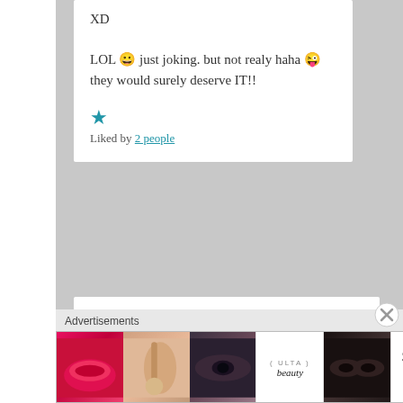XD

LOL 😀 just joking. but not realy haha 😜 they would surely deserve IT!!
★ Liked by 2 people
ricklondonsyndication on July 25, 2015 at 5:16 pm said:
[Figure (photo): Advertisement banner for ULTA beauty showing makeup photos with SHOP NOW call to action]